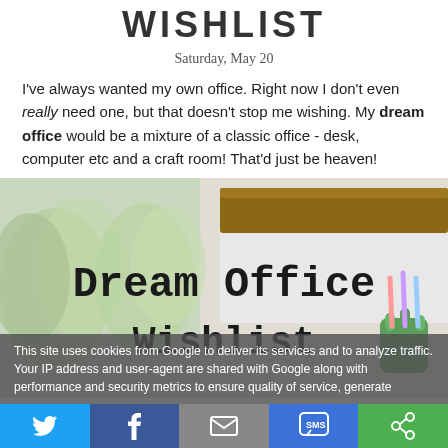WISHLIST
Saturday, May 20
I've always wanted my own office. Right now I don't even really need one, but that doesn't stop me wishing. My dream office would be a mixture of a classic office - desk, computer etc and a craft room! That'd just be heaven!
[Figure (photo): Dream Office Wishlist - decorative photo with plants, desk, and colored pencils with text overlay reading 'Dream Office Wishlist']
This site uses cookies from Google to deliver its services and to analyze traffic. Your IP address and user-agent are shared with Google along with performance and security metrics to ensure quality of service, generate